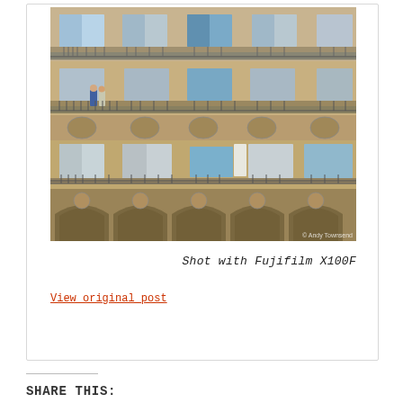[Figure (photo): Photograph of a historic European building facade with ornate stone balconies, iron railings, shuttered windows, and arched arcade at the bottom. Two people visible on one of the balconies. Watermark reads 'Andy Townsend' in lower right.]
Shot with Fujifilm X100F
View original post
SHARE THIS: